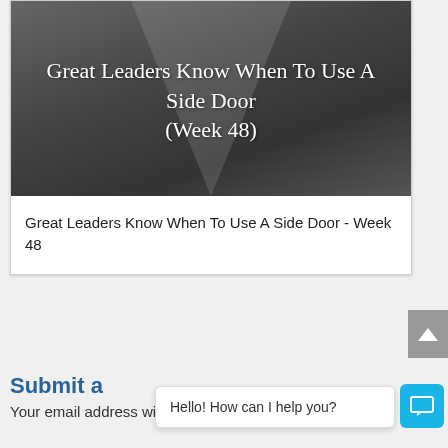[Figure (photo): Black and white photo of a hallway with light, overlaid with white serif text: 'Great Leaders Know When To Use A Side Door (Week 48)']
Great Leaders Know When To Use A Side Door - Week 48
Submit a
Your email address will not be published.
Hello! How can I help you?